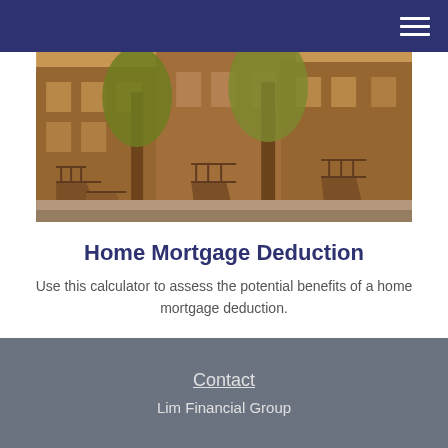[Figure (photo): Exterior photo of brownstone townhouses with ornate iron railings and staircases, trees on an urban street.]
Home Mortgage Deduction
Use this calculator to assess the potential benefits of a home mortgage deduction.
Contact
Lim Financial Group